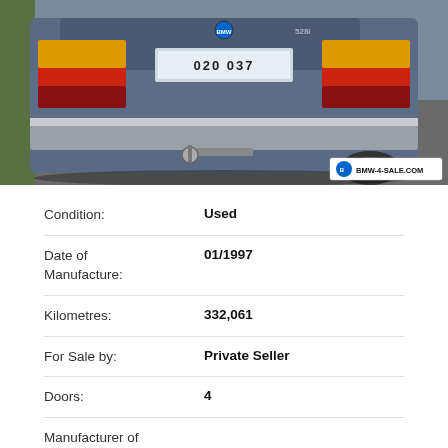[Figure (photo): Rear view of a blue BMW 528i sedan parked on a driveway, showing license plate, tail lights, and a tow bar. Watermark reads BMW-4-SALE.COM in bottom right corner.]
| Field | Value |
| --- | --- |
| Condition: | Used |
| Date of Manufacture: | 01/1997 |
| Kilometres: | 332,061 |
| For Sale by: | Private Seller |
| Doors: | 4 |
| Manufacturer of |  |